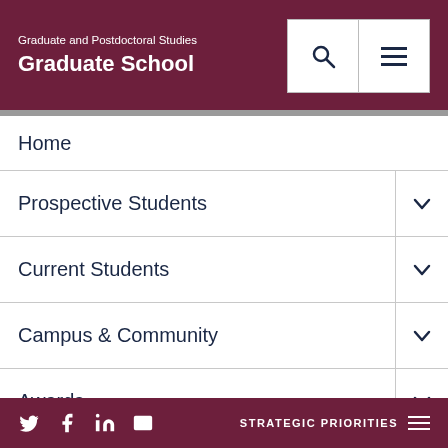Graduate and Postdoctoral Studies
Graduate School
Home
Prospective Students
Current Students
Campus & Community
Awards
Deadlines
Forms
Faculty & Staff
About Us
STRATEGIC PRIORITIES